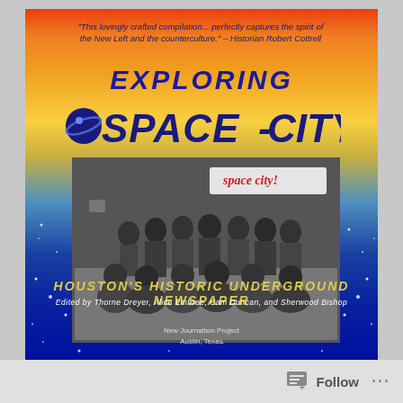[Figure (illustration): Book cover for 'Exploring Space City! Houston's Historic Underground Newspaper'. The cover features a gradient background from orange/red at the top to blue at the bottom with white star dots. Bold italic dark blue title text 'EXPLORING SPACE-CITY!' at the top. A black and white group photograph of approximately 20 people sitting and standing outdoors, with 'space city!' text visible in the upper right of the photo. Below the photo: 'HOUSTON'S HISTORIC UNDERGROUND NEWSPAPER' in yellow italic text, editors credit line, and publisher info 'New Journalism Project, Austin, Texas'. A quote at the top reads: 'This lovingly crafted compilation... perfectly captures the spirit of the New Left and the counterculture.' – Historian Robert Cottrell]
Follow ...